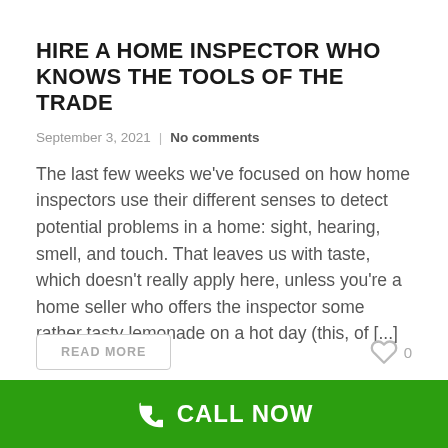HIRE A HOME INSPECTOR WHO KNOWS THE TOOLS OF THE TRADE
September 3, 2021  |  No comments
The last few weeks we've focused on how home inspectors use their different senses to detect potential problems in a home: sight, hearing, smell, and touch. That leaves us with taste, which doesn't really apply here, unless you're a home seller who offers the inspector some rather tasty lemonade on a hot day (this, of [...]
READ MORE
0
CALL NOW